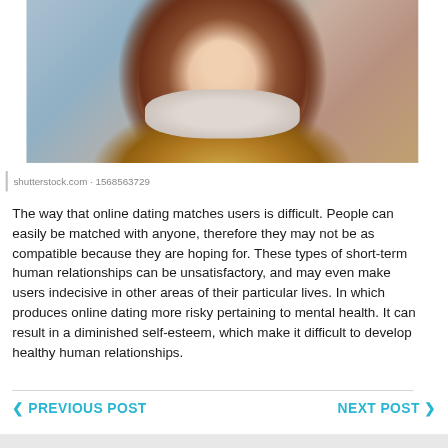[Figure (photo): A young woman with long auburn hair wearing a fur-trimmed vest, photographed outdoors in a winter setting with blurred background.]
shutterstock.com · 1568563729
The way that online dating matches users is difficult. People can easily be matched with anyone, therefore they may not be as compatible because they are hoping for. These types of short-term human relationships can be unsatisfactory, and may even make users indecisive in other areas of their particular lives. In which produces online dating more risky pertaining to mental health. It can result in a diminished self-esteem, which make it difficult to develop healthy human relationships.
❮ PREVIOUS POST   NEXT POST ❯